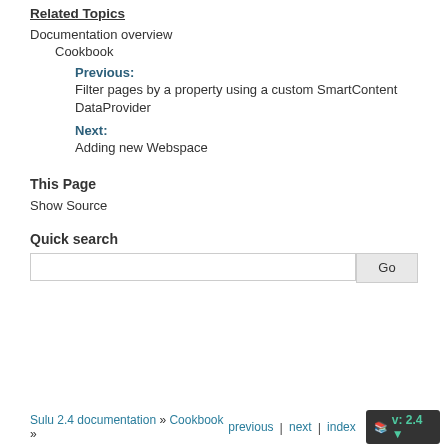Related Topics
Documentation overview
Cookbook
Previous: Filter pages by a property using a custom SmartContent DataProvider
Next: Adding new Webspace
This Page
Show Source
Quick search
Sulu 2.4 documentation » Cookbook » previous | next | index v: 2.4